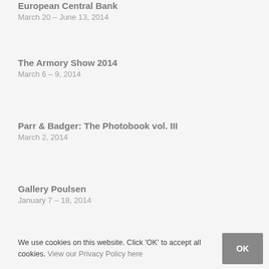European Central Bank
March 20 – June 13, 2014
The Armory Show 2014
March 6 – 9, 2014
Parr & Badger: The Photobook vol. III
March 2, 2014
Gallery Poulsen
January 7 – 18, 2014
We use cookies on this website. Click 'OK' to accept all cookies. View our Privacy Policy here